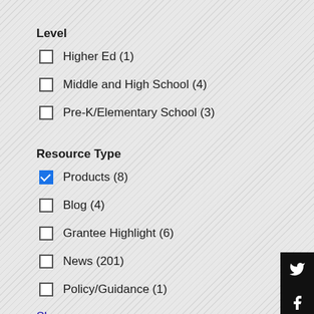Level
Higher Ed (1)
Middle and High School (4)
Pre-K/Elementary School (3)
Resource Type
Products (8)
Blog (4)
Grantee Highlight (6)
News (201)
Policy/Guidance (1)
Show more
Role
Community (1)